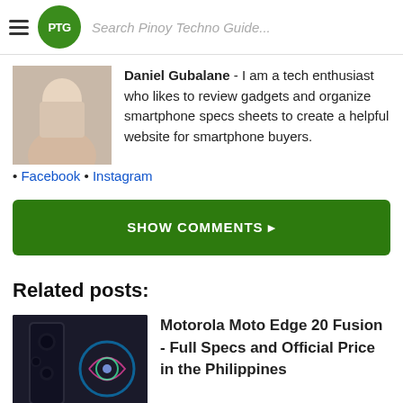PTG Search Pinoy Techno Guide...
Daniel Gubalane - I am a tech enthusiast who likes to review gadgets and organize smartphone specs sheets to create a helpful website for smartphone buyers. • Facebook • Instagram
SHOW COMMENTS ▸
Related posts:
Motorola Moto Edge 20 Fusion - Full Specs and Official Price in the Philippines